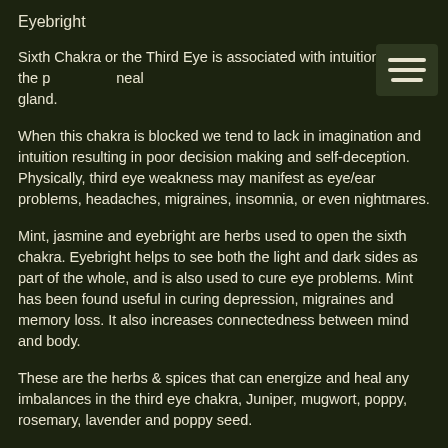Eyebright
Sixth Chakra or the Third Eye is associated with intuition and the pineal gland.
When this chakra is blocked we tend to lack in imagination and intuition resulting in poor decision making and self-deception. Physically, third eye weakness may manifest as eye/ear problems, headaches, migraines, insomnia, or even nightmares.
Mint, jasmine and eyebright are herbs used to open the sixth chakra. Eyebright helps to see both the light and dark sides as part of the whole, and is also used to cure eye problems. Mint has been found useful in curing depression, migraines and memory loss. It also increases connectedness between mind and body.
These are the herbs & spices that can energize and heal any imbalances in the third eye chakra, Juniper, mugwort, poppy, rosemary, lavender and poppy seed.
Seventh Chakra – Crown
lotus crown chakra
Crown Chakra connects us to the universal divine energy. This chakra is associated with wisdom, enlightenment and transcendence.
When our crown chakra is cleansed and open we experience divine union and cosmic love, stretching out forever. Our unique frequency is in